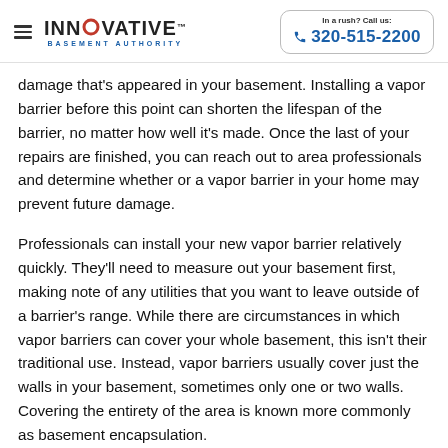INNOVATIVE BASEMENT AUTHORITY | In a rush? Call us: 320-515-2200
damage that's appeared in your basement. Installing a vapor barrier before this point can shorten the lifespan of the barrier, no matter how well it's made. Once the last of your repairs are finished, you can reach out to area professionals and determine whether or a vapor barrier in your home may prevent future damage.
Professionals can install your new vapor barrier relatively quickly. They'll need to measure out your basement first, making note of any utilities that you want to leave outside of a barrier's range. While there are circumstances in which vapor barriers can cover your whole basement, this isn't their traditional use. Instead, vapor barriers usually cover just the walls in your basement, sometimes only one or two walls. Covering the entirety of the area is known more commonly as basement encapsulation.